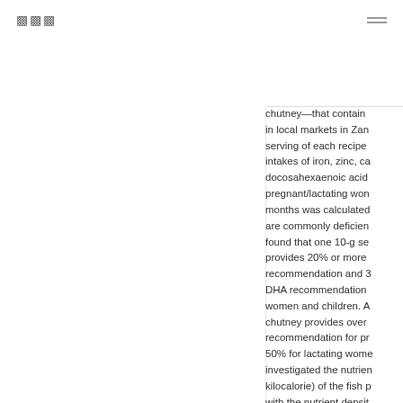|||  ≡
chutney—that contain in local markets in Zan serving of each recipe intakes of iron, zinc, ca docosahexaenoic acid pregnant/lactating won months was calculated are commonly deficien found that one 10-g se provides 20% or more recommendation and 3 DHA recommendation women and children. A chutney provides over recommendation for pr 50% for lactating wome investigated the nutrien kilocalorie) of the fish p with the nutrient densit based nutrient supplem SQ-LNS-plus is design diets by providing micr